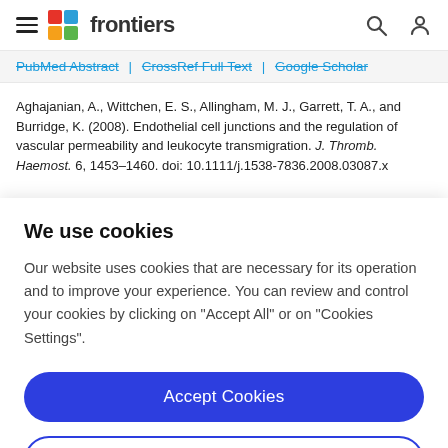frontiers
PubMed Abstract | CrossRef Full Text | Google Scholar
Aghajanian, A., Wittchen, E. S., Allingham, M. J., Garrett, T. A., and Burridge, K. (2008). Endothelial cell junctions and the regulation of vascular permeability and leukocyte transmigration. J. Thromb. Haemost. 6, 1453–1460. doi: 10.1111/j.1538-7836.2008.03087.x
We use cookies
Our website uses cookies that are necessary for its operation and to improve your experience. You can review and control your cookies by clicking on "Accept All" or on "Cookies Settings".
Accept Cookies
Cookies Settings